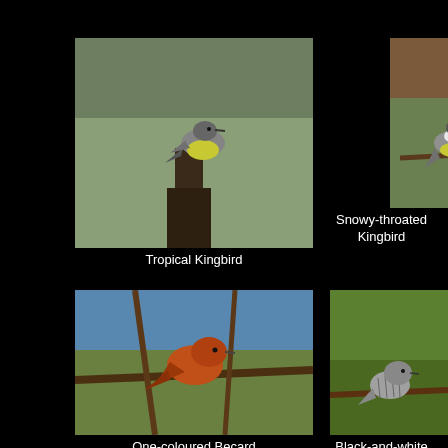[Figure (photo): Tropical Kingbird perched on a dead tree stump, gray and yellow bird against blurred green background]
Tropical Kingbird
[Figure (photo): Snowy-throated Kingbird perched on a twig, white-throated with yellow belly and gray head, blurred brown-green background]
Snowy-throated Kingbird
[Figure (photo): One-coloured Becard, orange-brown bird perched among branches with blue sky background]
One-coloured Becard
[Figure (photo): Black-and-white Becard, gray streaked bird perched on a branch with green foliage background]
Black-and-white Becard